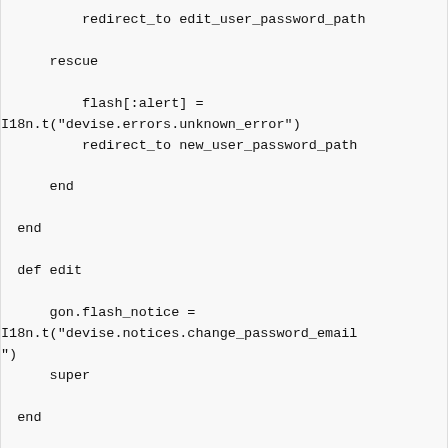redirect_to edit_user_password_path

    rescue

        flash[:alert] =
I18n.t("devise.errors.unknown_error")
        redirect_to new_user_password_path

    end

  end

  def edit

      gon.flash_notice =
I18n.t("devise.notices.change_password_email"
")
      super

  end

  def update

    if params[:user][:password].blank?